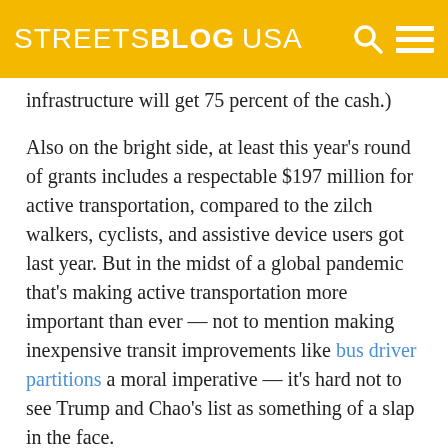STREETSBLOG USA
infrastructure will get 75 percent of the cash.)
Also on the bright side, at least this year’s round of grants includes a respectable $197 million for active transportation, compared to the zilch walkers, cyclists, and assistive device users got last year. But in the midst of a global pandemic that’s making active transportation more important than ever — not to mention making inexpensive transit improvements like bus driver partitions a moral imperative — it’s hard not to see Trump and Chao’s list as something of a slap in the face.
Filed Under: Bicycle Infrastructure, Bicycling, Bike/Ped,